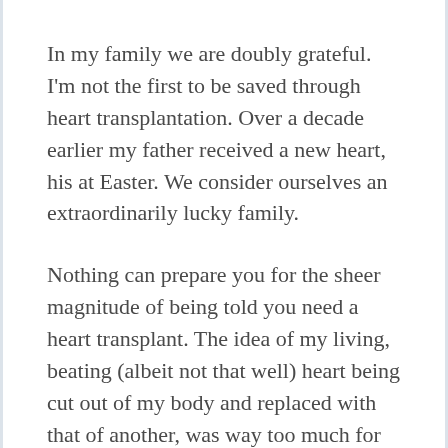In my family we are doubly grateful. I'm not the first to be saved through heart transplantation. Over a decade earlier my father received a new heart, his at Easter. We consider ourselves an extraordinarily lucky family.
Nothing can prepare you for the sheer magnitude of being told you need a heart transplant. The idea of my living, beating (albeit not that well) heart being cut out of my body and replaced with that of another, was way too much for me to contemplate for any length of time (still is). The awareness that in order for me to have a chance of survival, to have a future, someone else was